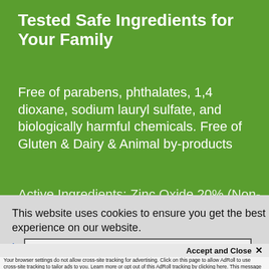Tested Safe Ingredients for Your Family
Free of parabens, phthalates, 1,4 dioxane, sodium lauryl sulfate, and biologically harmful chemicals. Free of Gluten & Dairy & Animal by-products
Active Ingredients: Zinc Oxide 20% (Non-
This website uses cookies to ensure you get the best experience on our website.
Learn More
red
Got It!
Accept and Close ✕
Your browser settings do not allow cross-site tracking for advertising. Click on this page to allow AdRoll to use cross-site tracking to tailor ads to you. Learn more or opt out of this AdRoll tracking by clicking here. This message only appears once.